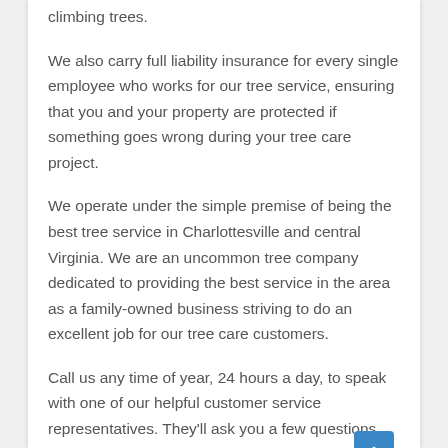climbing trees.
We also carry full liability insurance for every single employee who works for our tree service, ensuring that you and your property are protected if something goes wrong during your tree care project.
We operate under the simple premise of being the best tree service in Charlottesville and central Virginia. We are an uncommon tree company dedicated to providing the best service in the area as a family-owned business striving to do an excellent job for our tree care customers.
Call us any time of year, 24 hours a day, to speak with one of our helpful customer service representatives. They'll ask you a few questions about the tree work you require before sending one of our expert tree